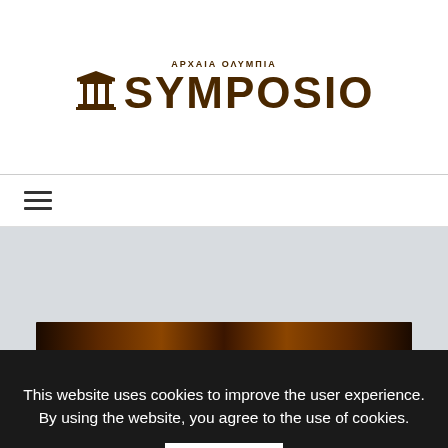[Figure (logo): Symposio Archaia Olympia logo with Greek temple icon and stylized text reading SYMPOSIO with ARXAIA OLYMPIA above]
[Figure (other): Hamburger menu icon with three horizontal bars]
[Figure (photo): Hero image area with light gray background and a dark wood-textured horizontal bar at the bottom]
This website uses cookies to improve the user experience. By using the website, you agree to the use of cookies.
Agree